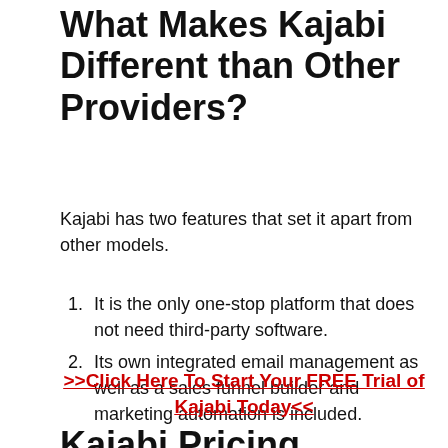What Makes Kajabi Different than Other Providers?
Kajabi has two features that set it apart from other models.
It is the only one-stop platform that does not need third-party software.
Its own integrated email management as well as a sales funnel builder and marketing automation is included.
>>Click Here To Start Your FREE Trial of Kajabi Today<<
Kajabi Pricing